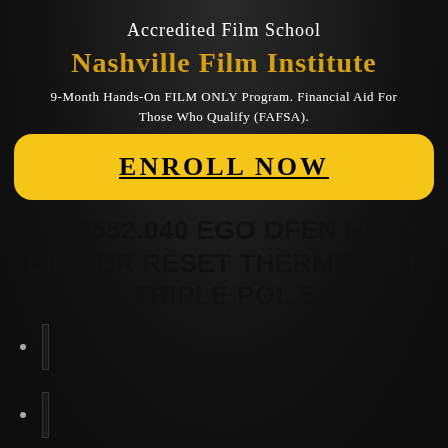Accredited Film School
Nashville Film Institute
9-Month Hands-On FILM ONLY Program. Financial Aid For Those Who Qualify (FAFSA).
ENROLL NOW
55.32552.040 EGO OFEN HOCH LIMITER RESET THERMOSTAT TRIPLE POL 5